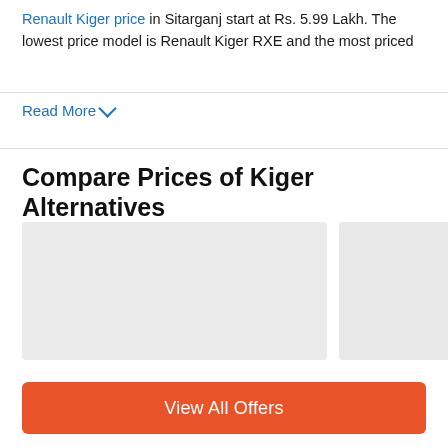Renault Kiger price in Sitarganj start at Rs. 5.99 Lakh. The lowest price model is Renault Kiger RXE and the most priced
Read More
Compare Prices of Kiger Alternatives
[Figure (other): Two placeholder car image cards for Kiger alternative models]
View All Offers